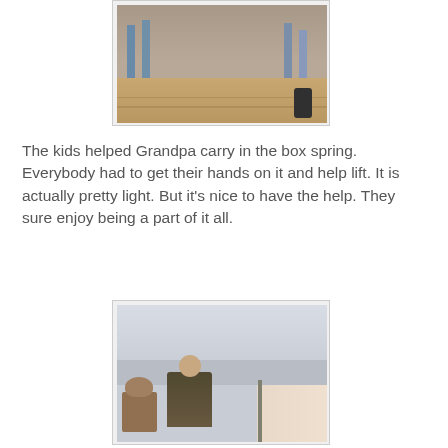[Figure (photo): Photo showing people carrying a box spring, view of legs and wooden floor]
The kids helped Grandpa carry in the box spring. Everybody had to get their hands on it and help lift. It is actually pretty light. But it's nice to have the help. They sure enjoy being a part of it all.
[Figure (photo): Photo of a person in a room, ceiling visible, furniture and doorway in background]